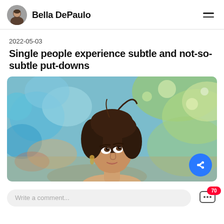Bella DePaulo
2022-05-03
Single people experience subtle and not-so-subtle put-downs
[Figure (photo): A young woman with long brown hair looking upward, photographed outdoors with blurred colorful bokeh background of trees and light]
Write a comment...
70